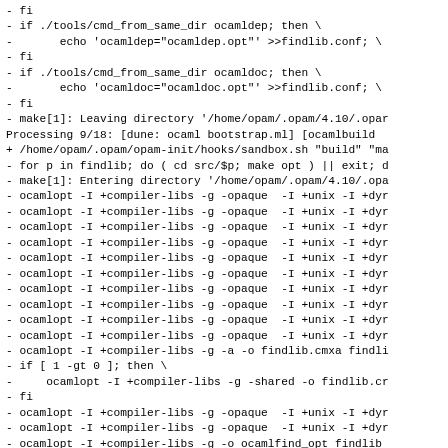- fi
- if ./tools/cmd_from_same_dir ocamldep; then \
-       echo 'ocamldep="ocamldep.opt"' >>findlib.conf; \
- fi
- if ./tools/cmd_from_same_dir ocamldoc; then \
-       echo 'ocamldoc="ocamldoc.opt"' >>findlib.conf; \
- fi
- make[1]: Leaving directory '/home/opam/.opam/4.10/.opar
Processing 9/18: [dune: ocaml bootstrap.ml] [ocamlbuild
+ /home/opam/.opam/opam-init/hooks/sandbox.sh "build" "ma
- for p in findlib; do ( cd src/$p; make opt ) || exit; d
- make[1]: Entering directory '/home/opam/.opam/4.10/.opa
- ocamlopt -I +compiler-libs -g -opaque  -I +unix -I +dyr
- ocamlopt -I +compiler-libs -g -opaque  -I +unix -I +dyr
- ocamlopt -I +compiler-libs -g -opaque  -I +unix -I +dyr
- ocamlopt -I +compiler-libs -g -opaque  -I +unix -I +dyr
- ocamlopt -I +compiler-libs -g -opaque  -I +unix -I +dyr
- ocamlopt -I +compiler-libs -g -opaque  -I +unix -I +dyr
- ocamlopt -I +compiler-libs -g -opaque  -I +unix -I +dyr
- ocamlopt -I +compiler-libs -g -opaque  -I +unix -I +dyr
- ocamlopt -I +compiler-libs -g -opaque  -I +unix -I +dyr
- ocamlopt -I +compiler-libs -g -opaque  -I +unix -I +dyr
- ocamlopt -I +compiler-libs -g -a -o findlib.cmxa findli
- if [ 1 -gt 0 ]; then \
-     ocamlopt -I +compiler-libs -g -shared -o findlib.cr
- fi
- ocamlopt -I +compiler-libs -g -opaque  -I +unix -I +dyr
- ocamlopt -I +compiler-libs -g -opaque  -I +unix -I +dyr
- ocamlopt -I +compiler-libs -g -o ocamlfind_opt findlib
-         -I +unix -I +dynlink ocaml_args.cmx frontend.c